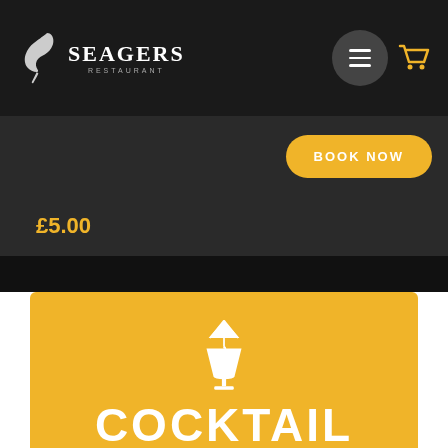[Figure (logo): Seagers Restaurant logo with bird silhouette and text]
BOOK NOW
£5.00
[Figure (illustration): Yellow card with white cocktail glass icon and umbrella, with text COCKTAIL at the bottom]